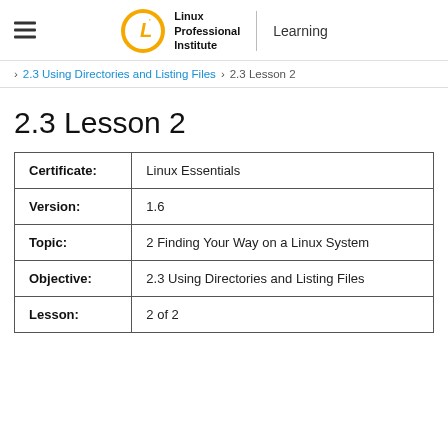Linux Professional Institute Learning
2.3 Using Directories and Listing Files > 2.3 Lesson 2
2.3 Lesson 2
| Certificate: | Linux Essentials |
| Version: | 1.6 |
| Topic: | 2 Finding Your Way on a Linux System |
| Objective: | 2.3 Using Directories and Listing Files |
| Lesson: | 2 of 2 |